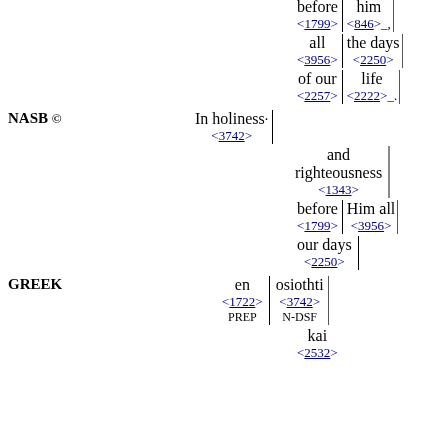righteousness <1343>
before <1799> | him <846>
all <3956> | the days <2250>
of our <2257> | life <2222>
NASB © In holiness· <3742>
and righteousness <1343>
before <1799> | Him all <3956>
our days <2250>
GREEK en <1722> PREP | osiothti <3742> N-DSF
kai <2532>